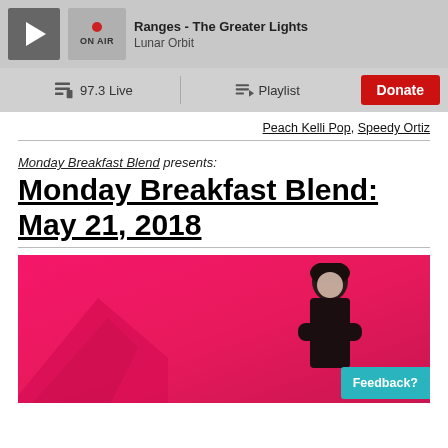Ranges - The Greater Lights | Lunar Orbit | ON AIR
97.3 Live | Playlist | Donate
Peach Kelli Pop, Speedy Ortiz
Monday Breakfast Blend presents:
Monday Breakfast Blend: May 21, 2018
[Figure (photo): Woman with short dark hair wearing black lace top, arms crossed, standing against a bright pink/hot pink background with geometric pink shapes in foreground]